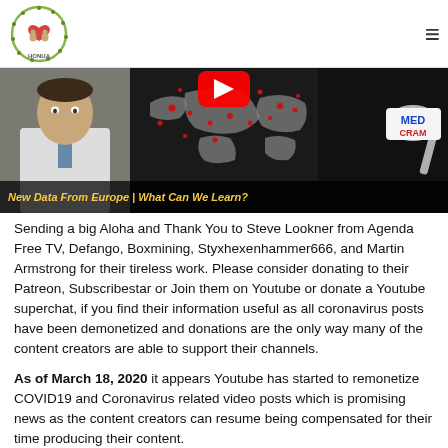[Figure (logo): HONUA organization logo with two figures and heart, circular design with green leaf border]
[Figure (screenshot): MedCram YouTube video thumbnail showing a doctor in white coat, world map with red coronavirus markers, YouTube play button, MedCram logo on spoon, caption: New Data From Europe | What Can We Learn?]
Sending a big Aloha and Thank You to Steve Lookner from Agenda Free TV, Defango, Boxmining, Styxhexenhammer666, and Martin Armstrong for their tireless work. Please consider donating to their Patreon, Subscribestar or Join them on Youtube or donate a Youtube superchat, if you find their information useful as all coronavirus posts have been demonetized and donations are the only way many of the content creators are able to support their channels.
As of March 18, 2020 it appears Youtube has started to remonetize COVID19 and Coronavirus related video posts which is promising news as the content creators can resume being compensated for their time producing their content.
As of March 20, 2020 it appears Youtube is still demonetizing COVID19 and Coronavirus related video content and have not